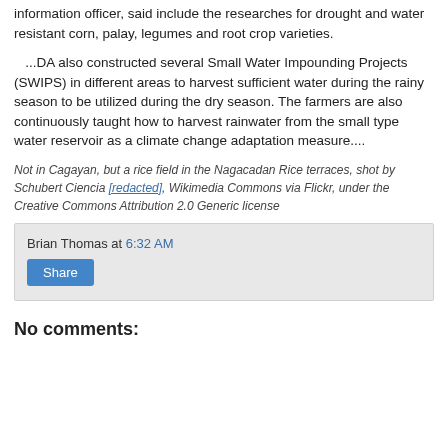information officer, said include the researches for drought and water resistant corn, palay, legumes and root crop varieties.
...DA also constructed several Small Water Impounding Projects (SWIPS) in different areas to harvest sufficient water during the rainy season to be utilized during the dry season. The farmers are also continuously taught how to harvest rainwater from the small type water reservoir as a climate change adaptation measure....
Not in Cagayan, but a rice field in the Nagacadan Rice terraces, shot by Schubert Ciencia [link], Wikimedia Commons via Flickr, under the Creative Commons Attribution 2.0 Generic license
Brian Thomas at 6:32 AM
Share
No comments: